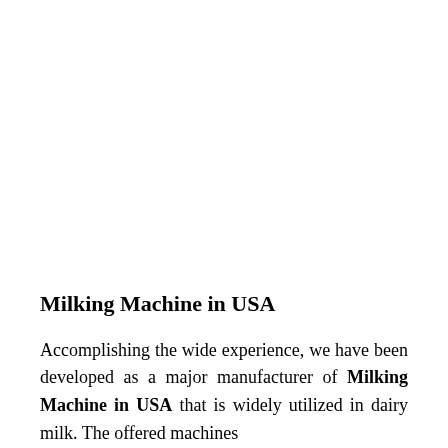Milking Machine in USA
Accomplishing the wide experience, we have been developed as a major manufacturer of Milking Machine in USA that is widely utilized in dairy milk. The offered machines